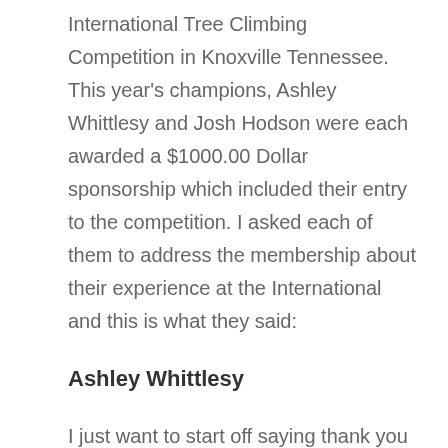International Tree Climbing Competition in Knoxville Tennessee. This year's champions, Ashley Whittlesy and Josh Hodson were each awarded a $1000.00 Dollar sponsorship which included their entry to the competition. I asked each of them to address the membership about their experience at the International and this is what they said:
Ashley Whittlesy
I just want to start off saying thank you all so much for all your hard work and your support! If it wasn't for you all, I